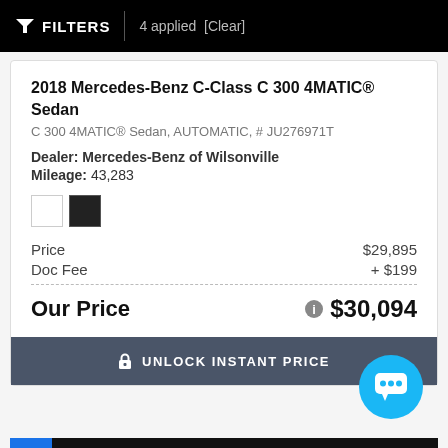FILTERS | 4 applied [Clear]
2018 Mercedes-Benz C-Class C 300 4MATIC® Sedan
C 300 4MATIC® Sedan, AUTOMATIC, # JU276971T
Dealer: Mercedes-Benz of Wilsonville
Mileage: 43,283
[Figure (other): Two color swatches: white and black]
| Price | $29,895 |
| Doc Fee | + $199 |
| Our Price | $30,094 |
UNLOCK INSTANT PRICE
CLICK TO CALL